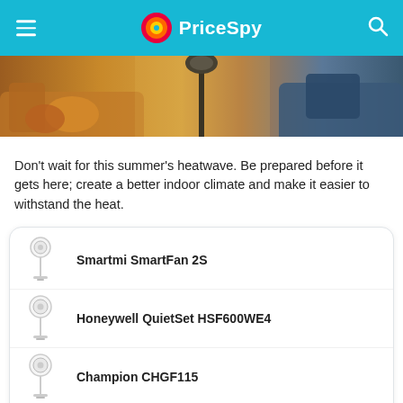PriceSpy
[Figure (photo): Interior room photo with a standing fan silhouette in the center, warm yellow/orange sofas and blue chair visible, blurred background]
Don't wait for this summer's heatwave. Be prepared before it gets here; create a better indoor climate and make it easier to withstand the heat.
Smartmi SmartFan 2S
Honeywell QuietSet HSF600WE4
Champion CHGF115
Deltaco FT-758